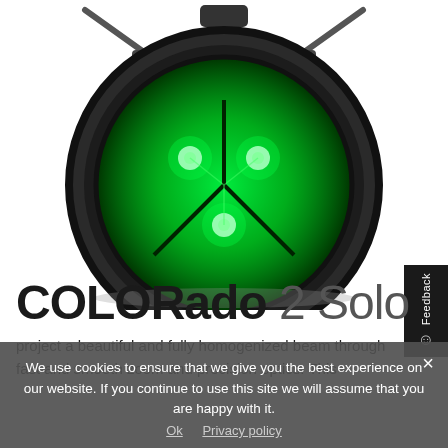[Figure (photo): Front-facing view of a COLORado 2 Solo stage lighting fixture with glowing green LED elements visible through the circular lens, mounted with yoke brackets, on white background]
COLORado 2 Solo
We use cookies to ensure that we give you the best experience on our website. If you continue to use this site we will assume that you are happy with it.
Ok   Privacy policy
project a beautiful and fully homogenized beam through fast and smooth zoom and precision optics. This